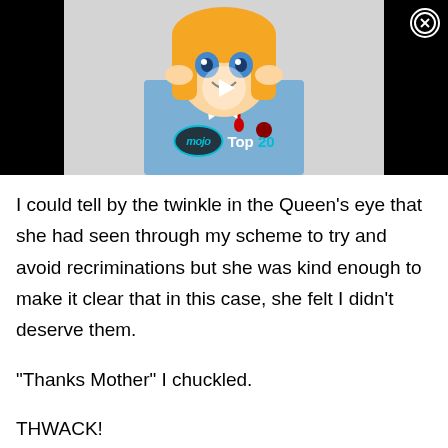[Figure (screenshot): Anime screenshot thumbnail with MojoTop 20 badge overlay showing an anime character with orange hair and blue eyes. Black bars on sides. Close button top right.]
I could tell by the twinkle in the Queen's eye that she had seen through my scheme to try and avoid recriminations but she was kind enough to make it clear that in this case, she felt I didn't deserve them.
“Thanks Mother” I chuckled.
THWACK!